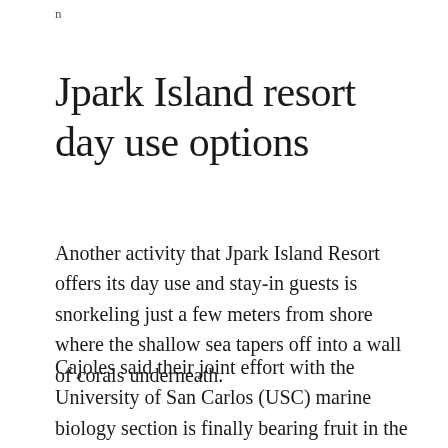n
Jpark Island resort day use options
Another activity that Jpark Island Resort offers its day use and stay-in guests is snorkeling just a few meters from shore where the shallow sea tapers off into a wall of corals underneath.
Cajoles said their joint effort with the University of San Carlos (USC) marine biology section is finally bearing fruit in the number of corals growing on the seafloor.